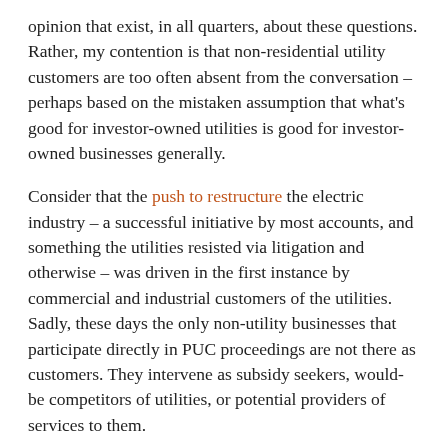opinion that exist, in all quarters, about these questions. Rather, my contention is that non-residential utility customers are too often absent from the conversation – perhaps based on the mistaken assumption that what's good for investor-owned utilities is good for investor-owned businesses generally.
Consider that the push to restructure the electric industry – a successful initiative by most accounts, and something the utilities resisted via litigation and otherwise – was driven in the first instance by commercial and industrial customers of the utilities.  Sadly, these days the only non-utility businesses that participate directly in PUC proceedings are not there as customers. They intervene as subsidy seekers, would-be competitors of utilities, or potential providers of services to them.
New Hampshire needs an alliance of commercial and industrial utility customers that can help the Office of the Consumer Advocate right-size the conversation. It must